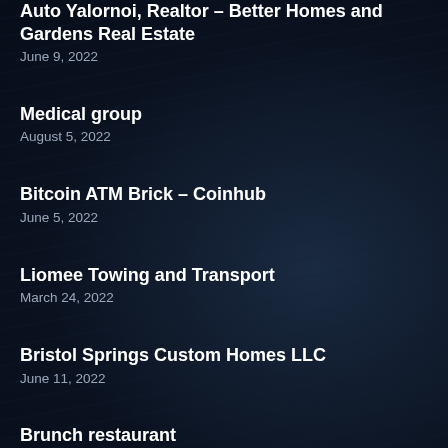Auto Yalornoi, Realtor – Better Homes and Gardens Real Estate
June 9, 2022
Medical group
August 5, 2022
Bitcoin ATM Brick – Coinhub
June 5, 2022
Liomee Towing and Transport
March 24, 2022
Bristol Springs Custom Homes LLC
June 11, 2022
Brunch restaurant